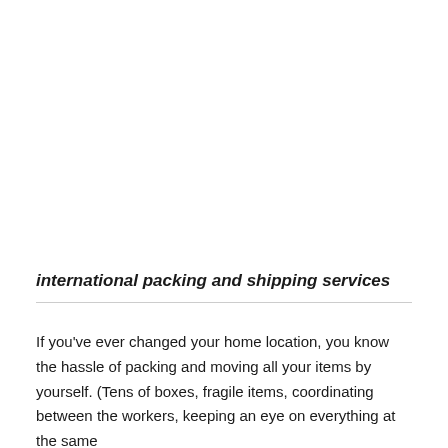international packing and shipping services
If you've ever changed your home location, you know the hassle of packing and moving all your items by yourself. (Tens of boxes, fragile items, coordinating between the workers, keeping an eye on everything at the same